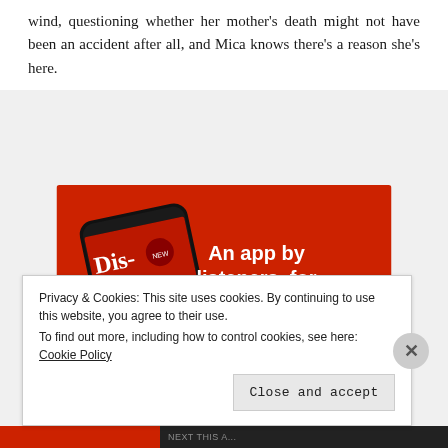wind, questioning whether her mother's death might not have been an accident after all, and Mica knows there's a reason she's here.
[Figure (illustration): Advertisement for a podcast app showing a smartphone displaying a podcast called 'Distributed' on a red background, with the text 'An app by listeners, for listeners.' and a 'Download now' button.]
Privacy & Cookies: This site uses cookies. By continuing to use this website, you agree to their use. To find out more, including how to control cookies, see here: Cookie Policy
Close and accept